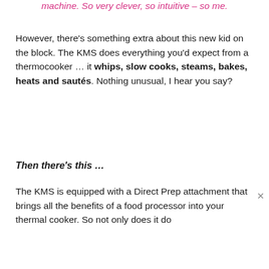machine. So very clever, so intuitive – so me.
However, there's something extra about this new kid on the block. The KMS does everything you'd expect from a thermocooker … it whips, slow cooks, steams, bakes, heats and sautés. Nothing unusual, I hear you say?
Then there's this …
The KMS is equipped with a Direct Prep attachment that brings all the benefits of a food processor into your thermal cooker. So not only does it do